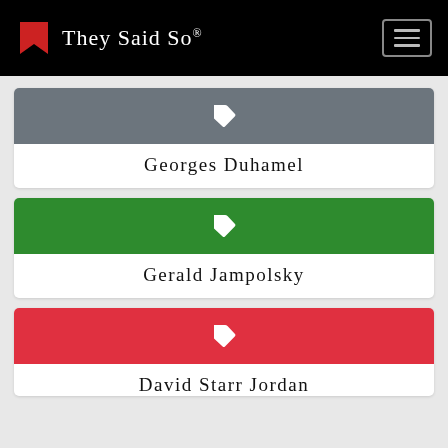They Said So®
Georges Duhamel
Gerald Jampolsky
David Starr Jordan